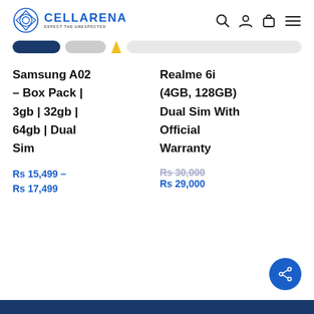CELLARENA — EXPECT THE UNEXPECTED
Samsung A02 – Box Pack | 3gb | 32gb | 64gb | Dual Sim
Rs 15,499 – Rs 17,499
Realme 6i (4GB, 128GB) Dual Sim With Official Warranty
Rs 30,000 Rs 29,000